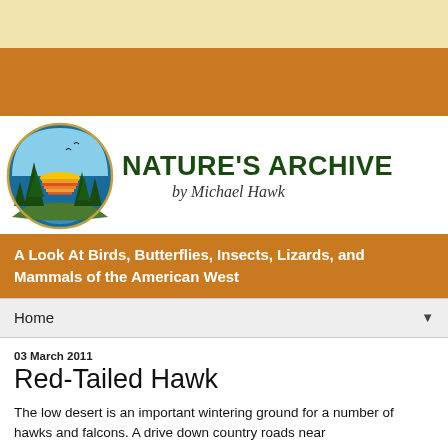[Figure (logo): Nature's Archive logo with circular nature scene (pine trees, sunset, river) and site title text 'NATURE'S ARCHIVE by Michael Hawk']
A Look At Birds, Butterflies, Insects, Lizards, and Mammals of the American West
Home ▼
03 March 2011
Red-Tailed Hawk
The low desert is an important wintering ground for a number of hawks and falcons. A drive down country roads near